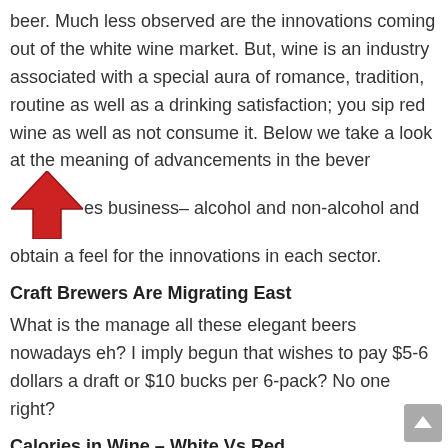beer. Much less observed are the innovations coming out of the white wine market. But, wine is an industry associated with a special aura of romance, tradition, routine as well as a drinking satisfaction; you sip red wine as well as not consume it. Below we take a look at the meaning of advancements in the beverages business– alcohol and non-alcohol and obtain a feel for the innovations in each sector.
Craft Brewers Are Migrating East
What is the manage all these elegant beers nowadays eh? I imply begun that wishes to pay $5-6 dollars a draft or $10 bucks per 6-pack? No one right?
Calories in Wine – White Vs Red